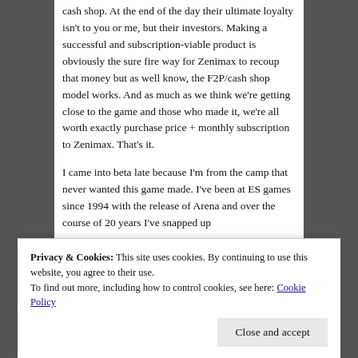cash shop. At the end of the day their ultimate loyalty isn't to you or me, but their investors. Making a successful and subscription-viable product is obviously the sure fire way for Zenimax to recoup that money but as well know, the F2P/cash shop model works. And as much as we think we're getting close to the game and those who made it, we're all worth exactly purchase price + monthly subscription to Zenimax. That's it.
I came into beta late because I'm from the camp that never wanted this game made. I've been at ES games since 1994 with the release of Arena and over the course of 20 years I've snapped up
Privacy & Cookies: This site uses cookies. By continuing to use this website, you agree to their use.
To find out more, including how to control cookies, see here: Cookie Policy
persistent multiplayer experience. Oh well, it